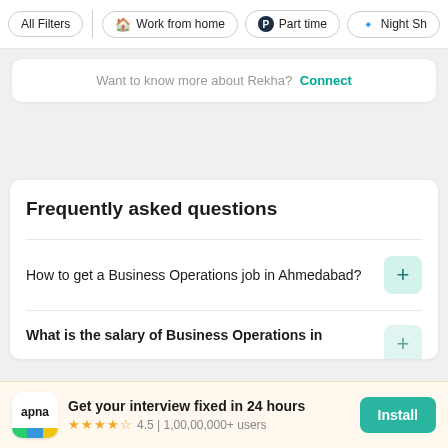All Filters | Work from home | Part time | Night Sh
Want to know more about Rekha? Connect
Frequently asked questions
How to get a Business Operations job in Ahmedabad?
What is the salary of Business Operations in
Get your interview fixed in 24 hours
4.5 | 1,00,00,000+ users